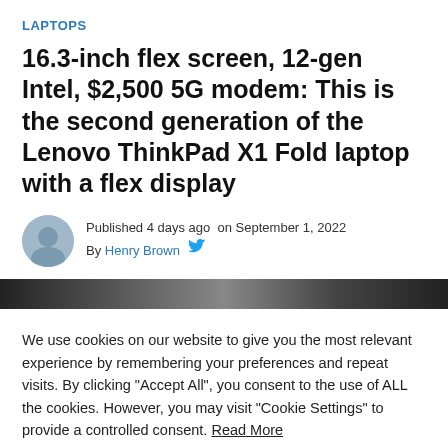LAPTOPS
16.3-inch flex screen, 12-gen Intel, $2,500 5G modem: This is the second generation of the Lenovo ThinkPad X1 Fold laptop with a flex display
Published 4 days ago on September 1, 2022
By Henry Brown
[Figure (photo): Dark blurred hero image bar of the Lenovo ThinkPad X1 Fold]
We use cookies on our website to give you the most relevant experience by remembering your preferences and repeat visits. By clicking "Accept All", you consent to the use of ALL the cookies. However, you may visit "Cookie Settings" to provide a controlled consent. Read More
Cookie Settings   Accept All